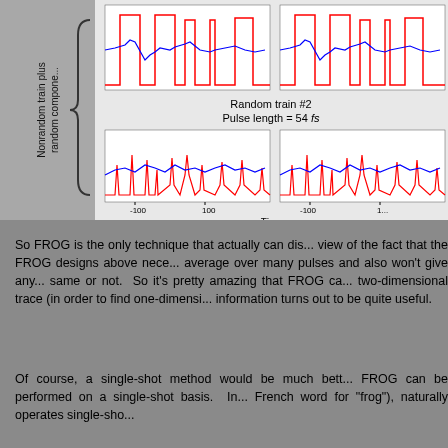[Figure (continuous-plot): Partial view of a scientific figure showing pulse train waveforms. Two rows of time-domain plots with red and blue traces. Top row shows nonrandom pulse train, bottom row shows 'Random train #2, Pulse length = 54 fs'. Rotated y-axis label reads 'Nonrandom train plus random component'. X-axis labeled 'Time' with ticks at -100 and 100.]
So FROG is the only technique that actually can dis... view of the fact that the FROG designs above nece... average over many pulses and also won't give any... same or not.  So it's pretty amazing that FROG ca... two-dimensional trace (in order to find one-dimensi... information turns out to be quite useful.
Of course, a single-shot method would be much bett... FROG can be performed on a single-shot basis.  In... French word for "frog"), naturally operates single-sho...